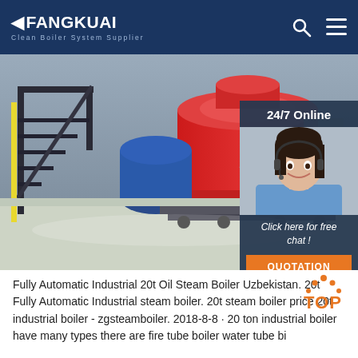FANGKUAI Clean Boiler System Supplier
[Figure (photo): Industrial boiler facility interior showing red cylindrical steam boilers, blue components, metal staircases, and piping in a large industrial space with reflective floors. A customer service overlay panel on the right shows '24/7 Online', a smiling female agent with headset, 'Click here for free chat!', and a QUOTATION button.]
Fully Automatic Industrial 20t Oil Steam Boiler Uzbekistan. 20t Fully Automatic Industrial steam boiler. 20t steam boiler price 20t industrial boiler - zgsteamboiler. 2018-8-8 · 20 ton industrial boiler have many types there are fire tube boiler water tube bi